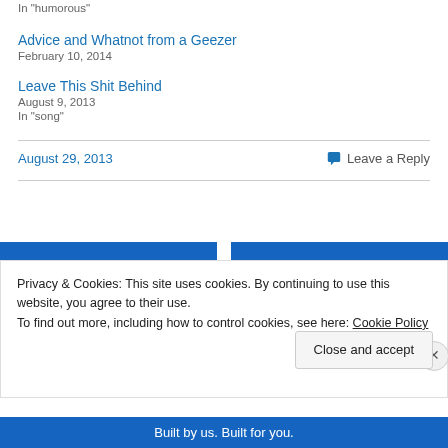In "humorous"
Advice and Whatnot from a Geezer
February 10, 2014
Leave This Shit Behind
August 9, 2013
In "song"
August 29, 2013
Leave a Reply
Privacy & Cookies: This site uses cookies. By continuing to use this website, you agree to their use.
To find out more, including how to control cookies, see here: Cookie Policy
Close and accept
Built by us. Built for you.